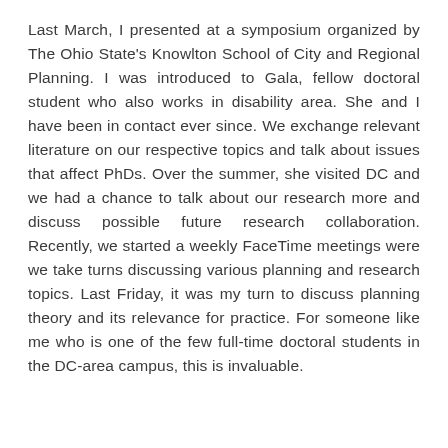Last March, I presented at a symposium organized by The Ohio State's Knowlton School of City and Regional Planning. I was introduced to Gala, fellow doctoral student who also works in disability area. She and I have been in contact ever since. We exchange relevant literature on our respective topics and talk about issues that affect PhDs. Over the summer, she visited DC and we had a chance to talk about our research more and discuss possible future research collaboration. Recently, we started a weekly FaceTime meetings were we take turns discussing various planning and research topics. Last Friday, it was my turn to discuss planning theory and its relevance for practice. For someone like me who is one of the few full-time doctoral students in the DC-area campus, this is invaluable.